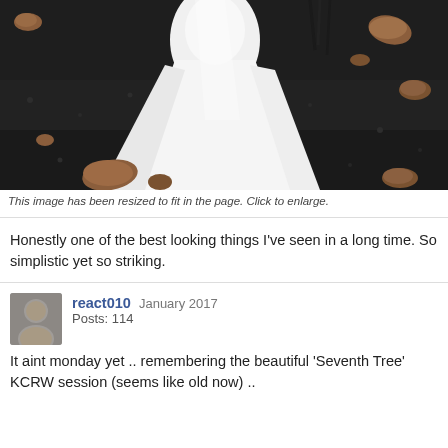[Figure (photo): A person in a flowing white dress standing on dark volcanic rock/gravel ground with scattered reddish-brown rocks, photographed from above.]
This image has been resized to fit in the page. Click to enlarge.
Honestly one of the best looking things I've seen in a long time. So simplistic yet so striking.
react010   January 2017
Posts: 114
It aint monday yet .. remembering the beautiful 'Seventh Tree' KCRW session (seems like old now) ..